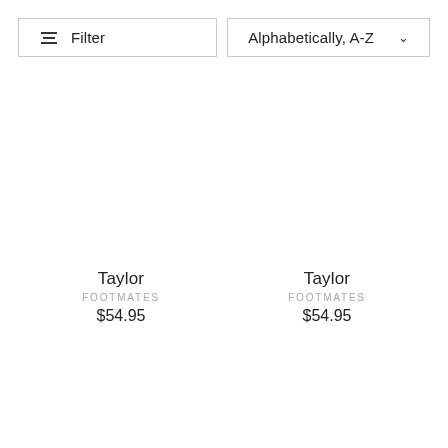Filter
Alphabetically, A-Z
Taylor
FOOTMATES
$54.95
Taylor
FOOTMATES
$54.95